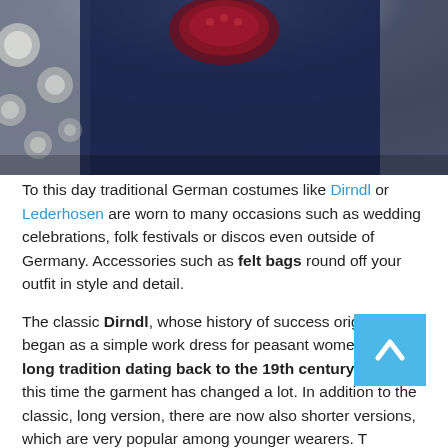[Figure (photo): Close-up photo of a person wearing traditional German costume with dark navy fabric and a dark red/burgundy decorative element at the neckline, with blurred bokeh background]
To this day traditional German costumes like Dirndl or Lederhosen are worn to many occasions such as wedding celebrations, folk festivals or discos even outside of Germany. Accessories such as felt bags round off your outfit in style and detail.
The classic Dirndl, whose history of success originally began as a simple work dress for peasant women, has a long tradition dating back to the 19th century. During this time the garment has changed a lot. In addition to the classic, long version, there are now also shorter versions, which are very popular among younger wearers. The use of different fabrics, color combinations and ornaments ensures that the Dirndl as a typical German costume never gets boring and it fits the taste of many different women.